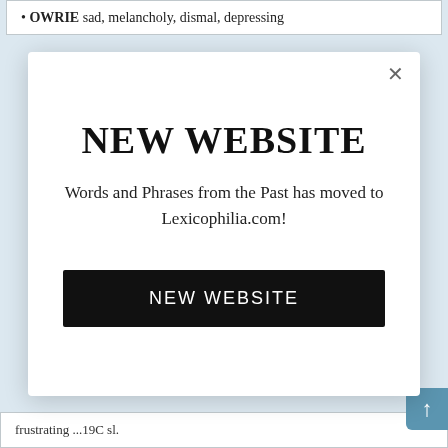OWRIE sad, melancholy, dismal, depressing
NEW WEBSITE
Words and Phrases from the Past has moved to Lexicophilia.com!
NEW WEBSITE
frustrating ...19C sl.